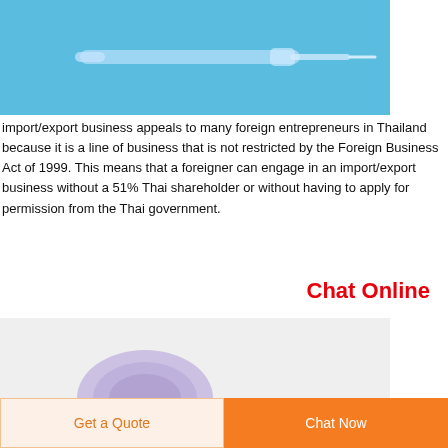[Figure (photo): Medical/scientific equipment (syringes or needles) on a blue background, partially cropped at top]
import/export business appeals to many foreign entrepreneurs in Thailand because it is a line of business that is not restricted by the Foreign Business Act of 1999. This means that a foreigner can engage in an import/export business without a 51% Thai shareholder or without having to apply for permission from the Thai government.
Chat Online
[Figure (photo): Medical device (purple/lavender colored connector or valve) on a light grey background]
Get a Quote
Chat Now